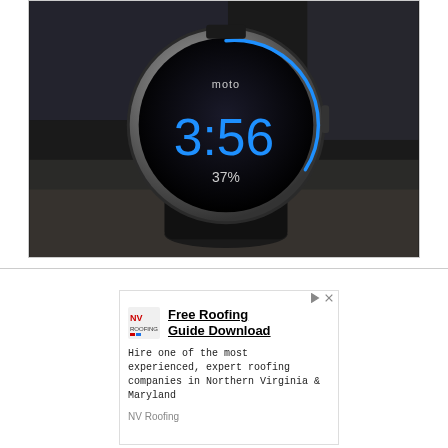[Figure (photo): A Moto 360 smartwatch on its charging dock. The circular watch face displays '3:56' in large blue digital numerals, 'moto' text at the top, and '37%' battery indicator below the time. A blue arc runs around the right side of the watch face. The watch sits on a black cylindrical stand against a dark blurred background.]
[Figure (other): Advertisement banner for NV Roofing. Contains NV Roofing logo, headline 'Free Roofing Guide Download', body text 'Hire one of the most experienced, expert roofing companies in Northern Virginia & Maryland', and company name 'NV Roofing'.]